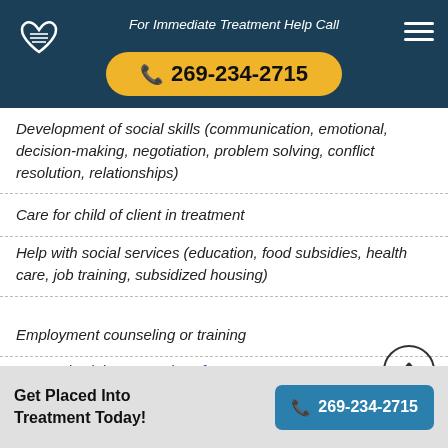For Immediate Treatment Help Call 269-234-2715
Development of social skills (communication, emotional, decision-making, negotiation, problem solving, conflict resolution, relationships)
Care for child of client in treatment
Help with social services (education, food subsidies, health care, job training, subsidized housing)
Employment counseling or training
Domestic violence services for family or partner
HIV - AIDS - human immunodeficiency virus
Get Placed Into Treatment Today! 269-234-2715